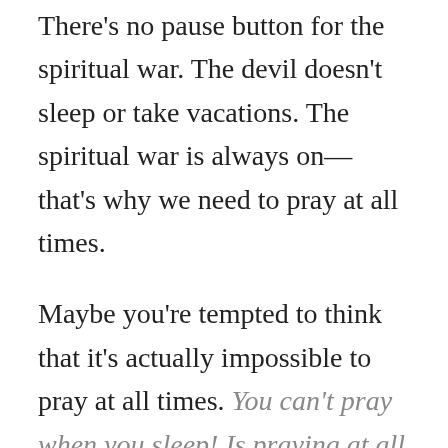There's no pause button for the spiritual war. The devil doesn't sleep or take vacations. The spiritual war is always on—that's why we need to pray at all times.
Maybe you're tempted to think that it's actually impossible to pray at all times. You can't pray when you sleep! Is praying at all times even possible? Or maybe you think that since it's impossible to fulfill this command perfectly, we shouldn't even think